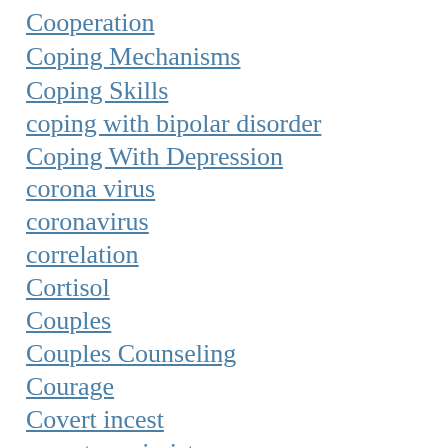Cooperation
Coping Mechanisms
Coping Skills
coping with bipolar disorder
Coping With Depression
corona virus
coronavirus
correlation
Cortisol
Couples
Couples Counseling
Courage
Covert incest
covert narcissist
covid-19